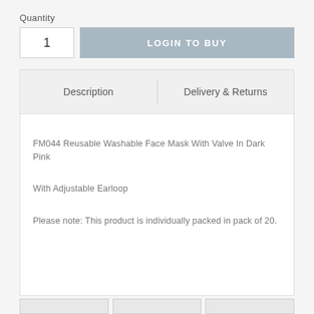Quantity
1
LOGIN TO BUY
| Description | Delivery & Returns |
| --- | --- |
FM044 Reusable Washable Face Mask With Valve In Dark Pink
With Adjustable Earloop
Please note: This product is individually packed in pack of 20.